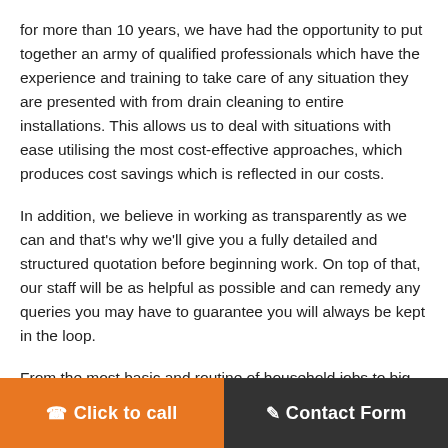for more than 10 years, we have had the opportunity to put together an army of qualified professionals which have the experience and training to take care of any situation they are presented with from drain cleaning to entire installations. This allows us to deal with situations with ease utilising the most cost-effective approaches, which produces cost savings which is reflected in our costs.
In addition, we believe in working as transparently as we can and that's why we'll give you a fully detailed and structured quotation before beginning work. On top of that, our staff will be as helpful as possible and can remedy any queries you may have to guarantee you will always be kept in the loop.
From the most basic and routine of household jobs to big commercial and industrial projects, we have the capabilities to deal with any job that comes our way. We arm our teams with the very best industry-leading tools to guarantee our technicians are prepared to begin work the moment they arrive – it's not at all
Click to call   Contact Form